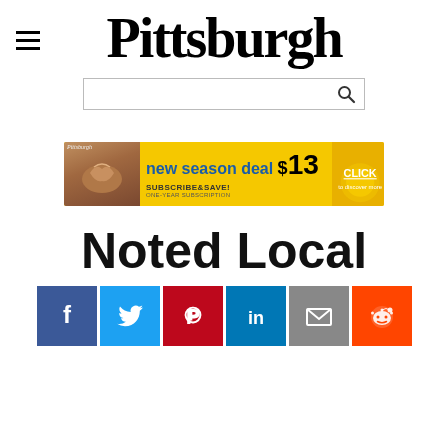Pittsburgh
[Figure (screenshot): Advertisement banner: 'new season deal $13 SUBSCRIBE&SAVE! ONE-YEAR SUBSCRIPTION CLICK' with Pittsburgh magazine logo and food image on left]
Noted Local
[Figure (infographic): Social sharing buttons: Facebook, Twitter, Pinterest, LinkedIn, Email, Reddit]